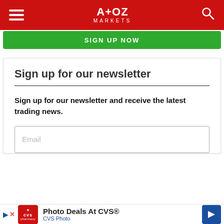A+OZ MARKETS
[Figure (screenshot): Green 'SIGN UP NOW' button banner]
Sign up for our newsletter
Sign up for our newsletter and receive the latest trading news.
[Figure (screenshot): Email input field and Sign Up button with infolinks ad overlay]
[Figure (infographic): CVS Photo ad: Photo Deals At CVS® with CVS pharmacy logo and directional arrow icon]